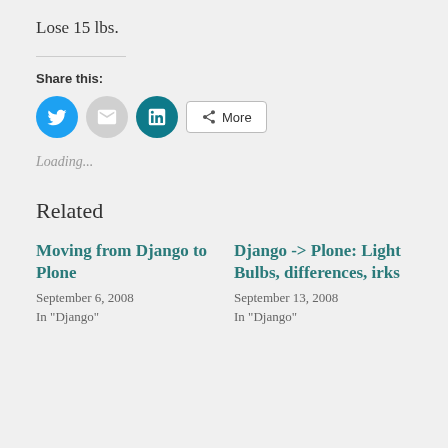Lose 15 lbs.
Share this:
[Figure (infographic): Social share buttons: Twitter (blue circle), Email (gray circle), LinkedIn (teal circle), and a More button with share icon]
Loading...
Related
Moving from Django to Plone
September 6, 2008
In "Django"
Django -> Plone: Light Bulbs, differences, irks
September 13, 2008
In "Django"